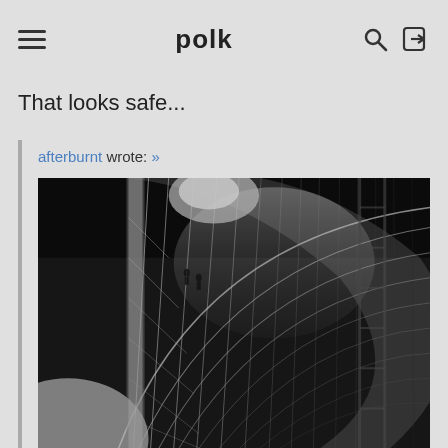polk
That looks safe...
afterburnt wrote: »
[Figure (photo): Black and white photograph of the interior skeletal framework of a large airship or zeppelin inside a hangar, showing intricate metallic lattice structure curving overhead]